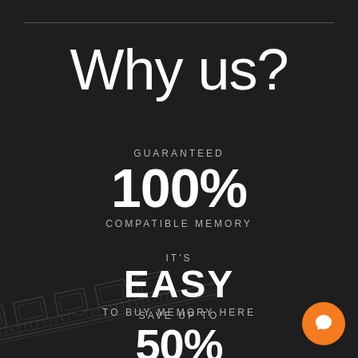Why us?
GUARANTEED
100%
COMPATIBLE MEMORY
IT'S
EASY
TO BUY MEMORY HERE
SAVE UP TO
50%
OFF OEM PRICES
[Figure (illustration): RAM memory module chip illustration in light gray outline at bottom left]